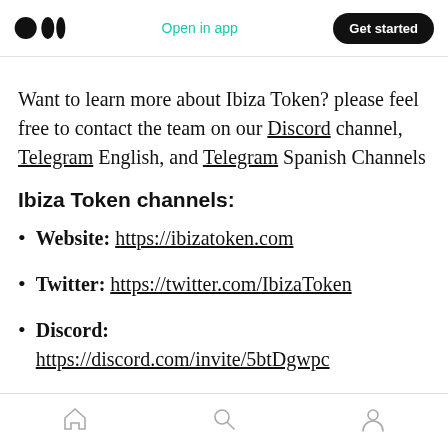Open in app | Get started
Want to learn more about Ibiza Token? please feel free to contact the team on our Discord channel, Telegram English, and Telegram Spanish Channels
Ibiza Token channels:
Website: https://ibizatoken.com
Twitter: https://twitter.com/IbizaToken
Discord: https://discord.com/invite/5btDgwpc
Home | Search | Profile